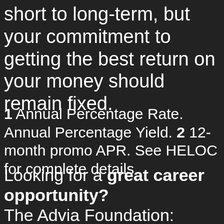short to long-term, but your commitment to getting the best return on your money should remain fixed.
1 Annual Percentage Rate. Annual Percentage Yield. 2 12-month promo APR. See HELOC for complete details.
Looking for a great career opportunity?
The Advia Foundation: giving back